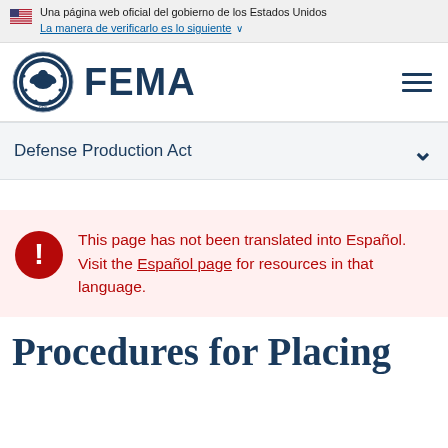Una página web oficial del gobierno de los Estados Unidos
La manera de verificarlo es lo siguiente
[Figure (logo): FEMA logo with Department of Homeland Security seal and FEMA wordmark]
Defense Production Act
This page has not been translated into Español. Visit the Español page for resources in that language.
Procedures for Placing